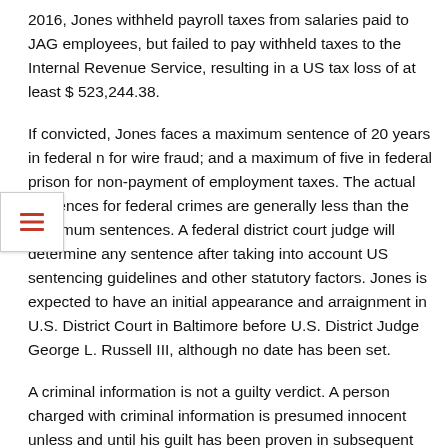2016, Jones withheld payroll taxes from salaries paid to JAG employees, but failed to pay withheld taxes to the Internal Revenue Service, resulting in a US tax loss of at least $ 523,244.38.
If convicted, Jones faces a maximum sentence of 20 years in federal n for wire fraud; and a maximum of five in federal prison for non-payment of employment taxes. The actual sentences for federal crimes are generally less than the maximum sentences. A federal district court judge will determine any sentence after taking into account US sentencing guidelines and other statutory factors. Jones is expected to have an initial appearance and arraignment in U.S. District Court in Baltimore before U.S. District Judge George L. Russell III, although no date has been set.
A criminal information is not a guilty verdict. A person charged with criminal information is presumed innocent unless and until his guilt has been proven in subsequent criminal proceedings.
Acting United States Attorney Jonathan F. Lenzner praised the IRS-